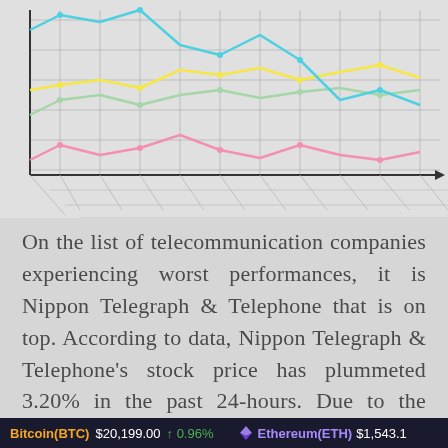[Figure (line-chart): Multi-line chart showing stock performance trends for several telecom companies. Lines in pink/red, yellow, green, and cyan/blue colors plotted on a grid background with a 3D perspective floor. The chart is partially cropped at top. X-axis has a right-pointing arrow.]
On the list of telecommunication companies experiencing worst performances, it is Nippon Telegraph & Telephone that is on top. According to data, Nippon Telegraph & Telephone's stock price has plummeted 3.20% in the past 24-hours. Due to the plummet, Nippon Telegraph
Bitcoin(BTC) $20,199.00 ↑ 0.96%   Ethereum(ETH) $1,543.1...